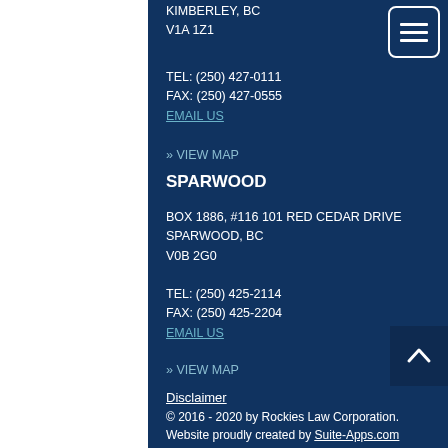KIMBERLEY, BC
V1A 1Z1
TEL: (250) 427-0111
FAX: (250) 427-0555
EMAIL US
» VIEW MAP
SPARWOOD
BOX 1886, #116 101 RED CEDAR DRIVE
SPARWOOD, BC
V0B 2G0
TEL: (250) 425-2114
FAX: (250) 425-2204
EMAIL US
» VIEW MAP
Disclaimer
© 2016 - 2020 by Rockies Law Corporation. Website proudly created by Suite-Apps.com